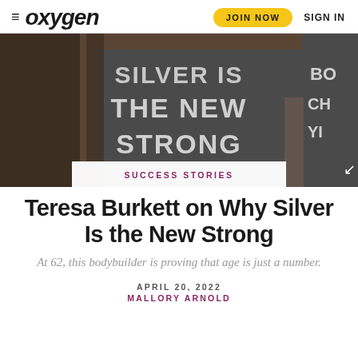≡ oxygen | JOIN NOW | SIGN IN
[Figure (photo): Close-up photo of a person wearing a dark grey tank top with text 'SILVER IS THE NEW STRONG' printed in large block letters. The background shows a gym environment.]
SUCCESS STORIES
Teresa Burkett on Why Silver Is the New Strong
At 62, this bodybuilder is proving that age is just a number.
APRIL 20, 2022
MALLORY ARNOLD